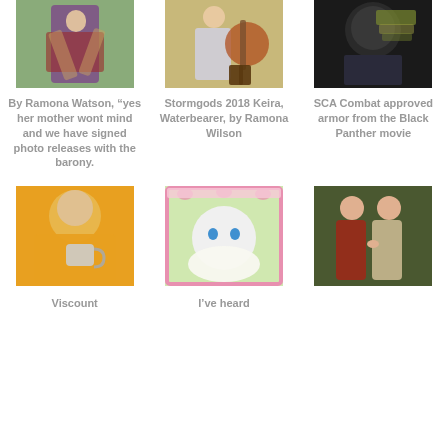[Figure (photo): Person in colorful costume dancing outdoors on grass]
[Figure (photo): Person in historical costume holding a large round shield outdoors]
[Figure (photo): Black Panther movie SCA combat armor, dark helmet and green/gold scarf]
By Ramona Watson, “yes her mother wont mind and we have signed photo releases with the barony.
Stormgods 2018 Keira, Waterbearer, by Ramona Wilson
SCA Combat approved armor from the Black Panther movie
[Figure (photo): Person in yellow/orange hooded robe drinking from a ceramic mug]
[Figure (photo): Meme image of a white cat dressed in Elizabethan ruff collar, pink and green decorative border, text at top]
[Figure (photo): Pre-Raphaelite style painting of a man and woman in medieval robes]
Viscount
I’ve heard